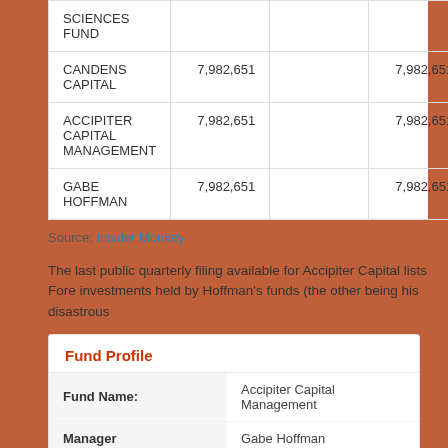|  |  |  |  |
| --- | --- | --- | --- |
| SCIENCES FUND |  |  |  |
| CANDENS CAPITAL | 7,982,651 |  | 7,982,651 |
| ACCIPITER CAPITAL MANAGEMENT | 7,982,651 |  | 7,982,651 |
| GABE HOFFMAN | 7,982,651 |  | 7,982,651 |
Source: Insider Monkey
The last public quarterly filing available for Accipiter Capital lists Fore investments held by Hoffman's funds (the other being his disastrous
| Fund Profile |  |
| --- | --- |
| Fund Name: | Accipiter Capital Management |
| Manager | Gabe Hoffman |
| Portfolio Value | $123,675,000 |
| Change This QTR | +0.40% |